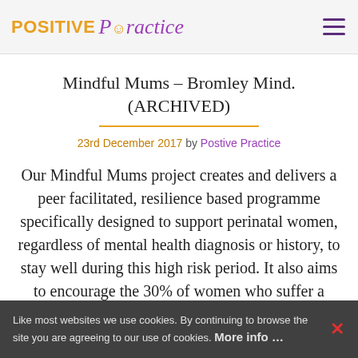POSITIVE Practice
Mindful Mums – Bromley Mind. (ARCHIVED)
23rd December 2017 by Postive Practice
Our Mindful Mums project creates and delivers a peer facilitated, resilience based programme specifically designed to support perinatal women, regardless of mental health diagnosis or history, to stay well during this high risk period. It also aims to encourage the 30% of women who suffer a perinatal mental health illness 'in silence' to access support that they wouldn't have
Like most websites we use cookies. By continuing to browse the site you are agreeing to our use of cookies. More info ...